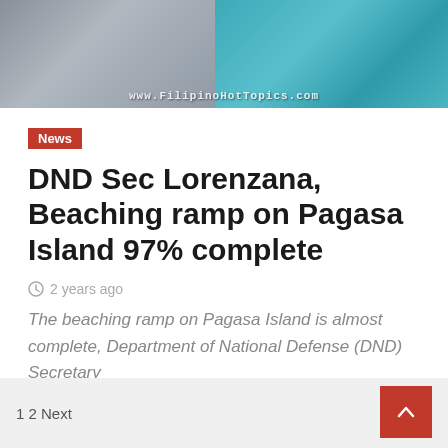[Figure (photo): Top banner image showing a person in grey clothing on the left and turquoise water/aerial view on the right, with watermark text www.FilipinoHotTopics.com]
News
DND Sec Lorenzana, Beaching ramp on Pagasa Island 97% complete
2 years ago
The beaching ramp on Pagasa Island is almost complete, Department of National Defense (DND) Secretary
1 2 Next